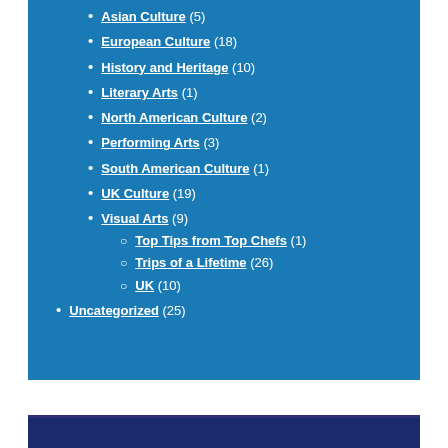Asian Culture (5)
European Culture (18)
History and Heritage (10)
Literary Arts (1)
North American Culture (2)
Performing Arts (3)
South American Culture (1)
UK Culture (19)
Visual Arts (9)
Top Tips from Top Chefs (1)
Trips of a Lifetime (26)
UK (10)
Uncategorized (25)